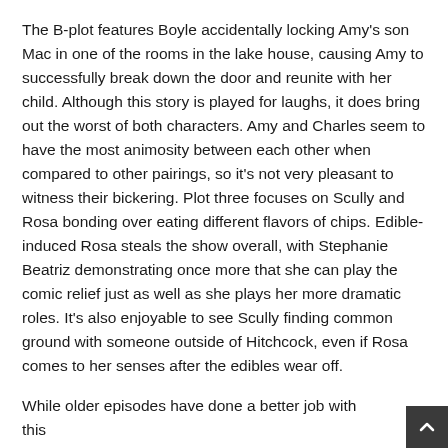The B-plot features Boyle accidentally locking Amy's son Mac in one of the rooms in the lake house, causing Amy to successfully break down the door and reunite with her child. Although this story is played for laughs, it does bring out the worst of both characters. Amy and Charles seem to have the most animosity between each other when compared to other pairings, so it's not very pleasant to witness their bickering. Plot three focuses on Scully and Rosa bonding over eating different flavors of chips. Edible-induced Rosa steals the show overall, with Stephanie Beatriz demonstrating once more that she can play the comic relief just as well as she plays her more dramatic roles. It's also enjoyable to see Scully finding common ground with someone outside of Hitchcock, even if Rosa comes to her senses after the edibles wear off.
While older episodes have done a better job with this